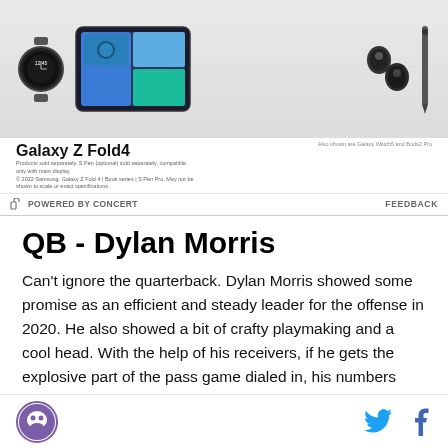[Figure (photo): Samsung Galaxy Z Fold4 advertisement showing a smartwatch, foldable phone, earbuds, and stylus on a light background. Text reads 'Galaxy Z Fold4' with tagline text.]
⬕ POWERED BY CONCERT    FEEDBACK
QB - Dylan Morris
Can't ignore the quarterback. Dylan Morris showed some promise as an efficient and steady leader for the offense in 2020. He also showed a bit of crafty playmaking and a cool head. With the help of his receivers, if he gets the explosive part of the pass game dialed in, his numbers could take off. The offensive staff seems dedicated to running the ball, so perhaps a lot of his potential red zone scores will go to
[logo] [twitter] [facebook]